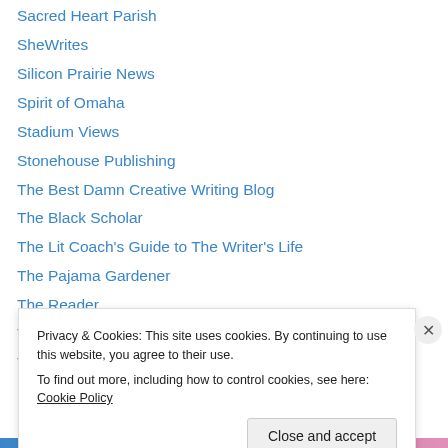Sacred Heart Parish
SheWrites
Silicon Prairie News
Spirit of Omaha
Stadium Views
Stonehouse Publishing
The Best Damn Creative Writing Blog
The Black Scholar
The Lit Coach's Guide to The Writer's Life
The Pajama Gardener
The Reader
ThisCan'tBeHappening.net
Tonix Local News Omaha, NE
Privacy & Cookies: This site uses cookies. By continuing to use this website, you agree to their use.
To find out more, including how to control cookies, see here: Cookie Policy
Close and accept